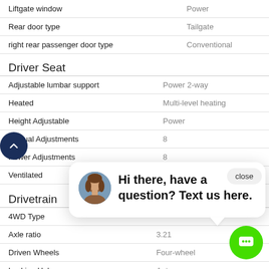| Feature | Value |
| --- | --- |
| Liftgate window | Power |
| Rear door type | Tailgate |
| right rear passenger door type | Conventional |
Driver Seat
| Feature | Value |
| --- | --- |
| Adjustable lumbar support | Power 2-way |
| Heated | Multi-level heating |
| Height Adjustable | Power |
| Manual Adjustments | 8 |
| Power Adjustments | 8 |
| Ventilated | Ventilated |
Drivetrain
| Feature | Value |
| --- | --- |
| 4WD Type |  |
| Axle ratio | 3.21 |
| Driven Wheels | Four-wheel |
| Locking Hubs | Auto |
| Transfer Case | Electronic |
[Figure (other): Chat popup with avatar photo of woman, text: Hi there, have a question? Text us here. Close button and green chat icon.]